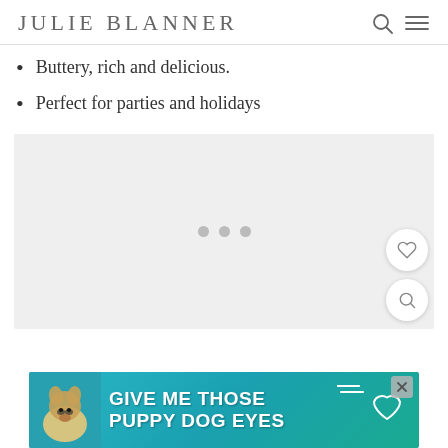JULIE BLANNER
Buttery, rich and delicious.
Perfect for parties and holidays
[Figure (photo): Loading placeholder with three grey dots in a light grey rectangle, with a heart/favorite button and a search/magnify button on the right side]
[Figure (photo): Advertisement banner: teal/turquoise background with a dog graphic on the left and bold white text reading GIVE ME THOSE PUPPY DOG EYES with a heart icon, and an X close button]